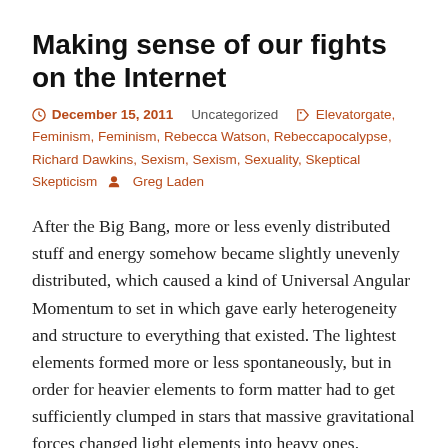Making sense of our fights on the Internet
December 15, 2011   Uncategorized   Elevatorgate, Feminism, Feminism, Rebecca Watson, Rebeccapocalypse, Richard Dawkins, Sexism, Sexism, Sexuality, Skeptical Skepticism   Greg Laden
After the Big Bang, more or less evenly distributed stuff and energy somehow became slightly unevenly distributed, which caused a kind of Universal Angular Momentum to set in which gave early heterogeneity and structure to everything that existed. The lightest elements formed more or less spontaneously, but in order for heavier elements to form matter had to get sufficiently clumped in stars that massive gravitational forces changed light elements into heavy ones. Perhaps if the initial clumping and spinning of stuff in the very early universe was a little